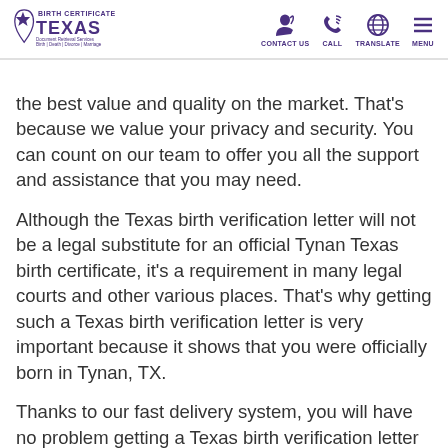Birth Certificate Texas | CONTACT US | CALL | TRANSLATE | MENU
the best value and quality on the market. That's because we value your privacy and security. You can count on our team to offer you all the support and assistance that you may need.
Although the Texas birth verification letter will not be a legal substitute for an official Tynan Texas birth certificate, it's a requirement in many legal courts and other various places. That's why getting such a Texas birth verification letter is very important because it shows that you were officially born in Tynan, TX.
Thanks to our fast delivery system, you will have no problem getting a Texas birth verification letter quickly and easily. We value our customers and we